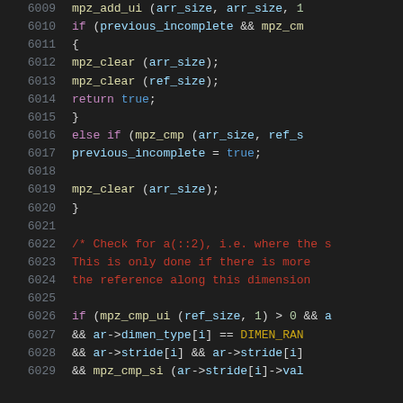Source code listing, lines 6009-6029
6009    mpz_add_ui (arr_size, arr_size, 1
6010    if (previous_incomplete && mpz_cm
6011    {
6012        mpz_clear (arr_size);
6013        mpz_clear (ref_size);
6014        return true;
6015    }
6016    else if (mpz_cmp (arr_size, ref_s
6017        previous_incomplete = true;
6018
6019    mpz_clear (arr_size);
6020    }
6021
6022    /* Check for a(::2), i.e. where the s
6023        This is only done if there is more
6024        the reference along this dimension
6025
6026    if (mpz_cmp_ui (ref_size, 1) > 0 && a
6027        && ar->dimen_type[i] == DIMEN_RAN
6028        && ar->stride[i] && ar->stride[i]
6029        && mpz_cmp_si (ar->stride[i]->val